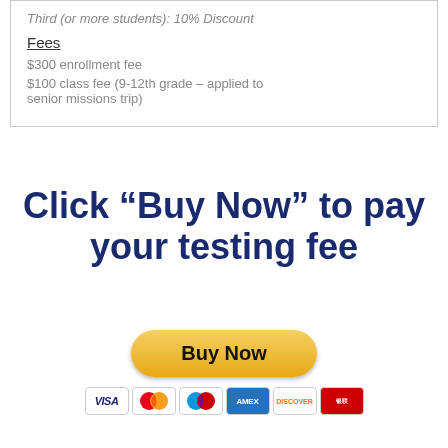Third (or more students): 10% Discount
Fees
$300 enrollment fee
$100 class fee (9-12th grade – applied to senior missions trip)
Click “Buy Now” to pay your testing fee
[Figure (illustration): PayPal Buy Now button with payment icons (Visa, Mastercard, Maestro, American Express, Discover, UnionPay)]